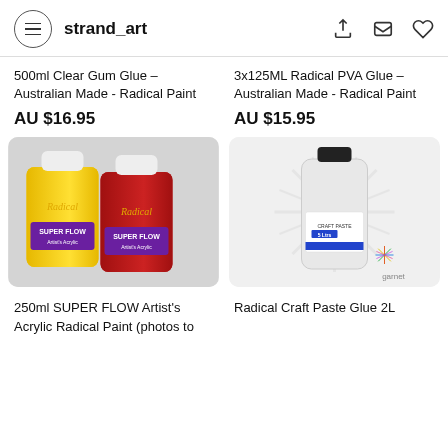strand_art
500ml Clear Gum Glue – Australian Made - Radical Paint
AU $16.95
3x125ML Radical PVA Glue – Australian Made - Radical Paint
AU $15.95
[Figure (photo): Two bottles of Radical Paint Super Flow Artist's Acrylic in yellow and red]
[Figure (photo): Large 2L clear bottle of Radical Craft Paste Glue with Garnet branding watermark]
250ml SUPER FLOW Artist's Acrylic Radical Paint (photos to
Radical Craft Paste Glue 2L